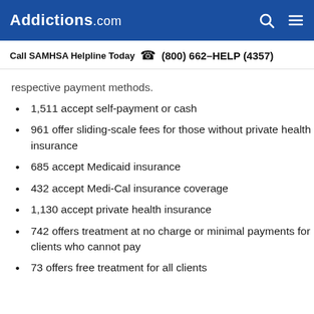Addictions.com
Call SAMHSA Helpline Today  (800) 662-HELP (4357)
respective payment methods.
1,511 accept self-payment or cash
961 offer sliding-scale fees for those without private health insurance
685 accept Medicaid insurance
432 accept Medi-Cal insurance coverage
1,130 accept private health insurance
742 offers treatment at no charge or minimal payments for clients who cannot pay
73 offers free treatment for all clients